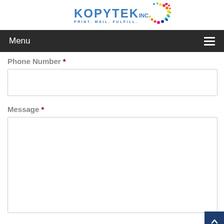[Figure (logo): Kopytek Inc. logo with colorful dot swirl graphic and tagline PRINT. MAIL. FULFILL.]
Menu
Phone Number *
Message *